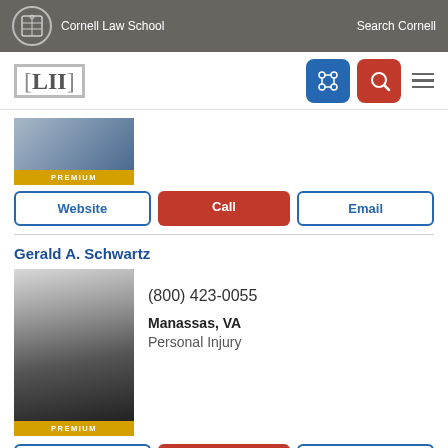Cornell Law School | Search Cornell
[Figure (logo): LII Legal Information Institute logo with Cornell Law School header navigation]
[Figure (photo): Partial attorney photo with PREMIUM badge]
Website | Call | Email buttons for first attorney
Gerald A. Schwartz
[Figure (photo): Black and white headshot of Gerald A. Schwartz in suit, PREMIUM badge]
(800) 423-0055
Manassas, VA
Personal Injury
Website | Call | Email buttons for Gerald A. Schwartz
Ryan Rambudhan
[Figure (photo): Partial headshot of Ryan Rambudhan]